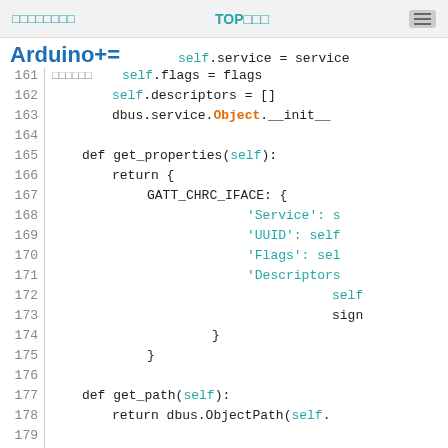TOP
[Figure (screenshot): Code editor showing Python code for a GATT characteristic class, lines 160-181, with syntax highlighting. Arduino+= logo on the left.]
self.service = service
    self.flags = flags
    self.descriptors = []
    dbus.service.Object.__init__
def get_properties(self):
    return {
        GATT_CHRC_IFACE: {
            'Service': s
            'UUID': self
            'Flags': sel
            'Descriptors
            self
            sign
        }
    }
def get_path(self):
    return dbus.ObjectPath(self.
def add_descriptor(self, descrip
    self.descriptors.append(desc